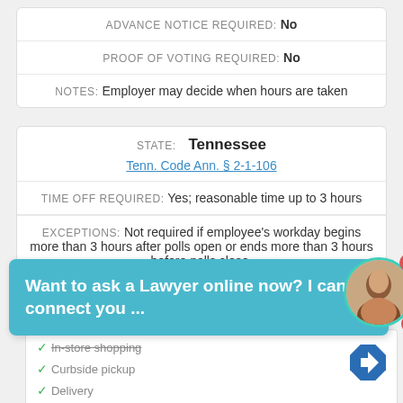| ADVANCE NOTICE REQUIRED: | No |
| PROOF OF VOTING REQUIRED: | No |
| NOTES: | Employer may decide when hours are taken |
| STATE: | Tennessee |
|  | Tenn. Code Ann. § 2-1-106 |
| TIME OFF REQUIRED: | Yes; reasonable time up to 3 hours |
| EXCEPTIONS: | Not required if employee's workday begins more than 3 hours after polls open or ends more than 3 hours before polls close. |
[Figure (screenshot): Chat popup overlay: 'Want to ask a Lawyer online now? I can connect you ...' with close button and avatar with badge]
[Figure (screenshot): Advertisement showing in-store shopping, Curbside pickup, Delivery options with navigation arrow icon and brand logo]